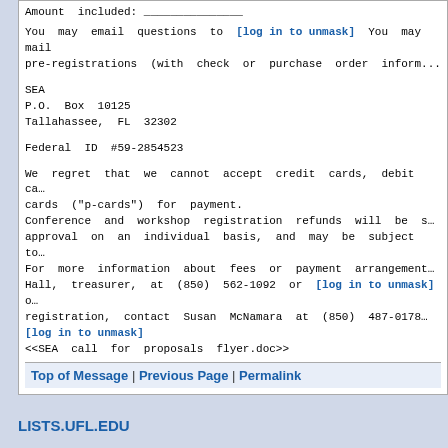Amount included: ___
You may email questions to [log in to unmask] You may mail pre-registrations (with check or purchase order inform...
SEA
P.O. Box 10125
Tallahassee, FL 32302
Federal ID #59-2854523
We regret that we cannot accept credit cards, debit ca... cards ("p-cards") for payment.
Conference and workshop registration refunds will be s... approval on an individual basis, and may be subject to...
For more information about fees or payment arrangement... Hall, treasurer, at (850) 562-1092 or [log in to unmask] o... registration, contact Susan McNamara at (850) 487-0178... [log in to unmask]
<<SEA call for proposals flyer.doc>>
Top of Message | Previous Page | Permalink
LISTS.UFL.EDU